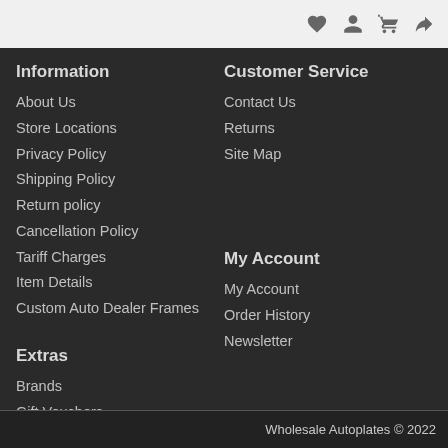[icons: heart, person, cart, share]
Information
About Us
Store Locations
Privacy Policy
Shipping Policy
Return policy
Cancellation Policy
Tariff Charges
Item Details
Custom Auto Dealer Frames
Customer Service
Contact Us
Returns
Site Map
Extras
Brands
Gift Vouchers
Affiliates
Specials
My Account
My Account
Order History
Newsletter
Wholesale Autoplates © 2022